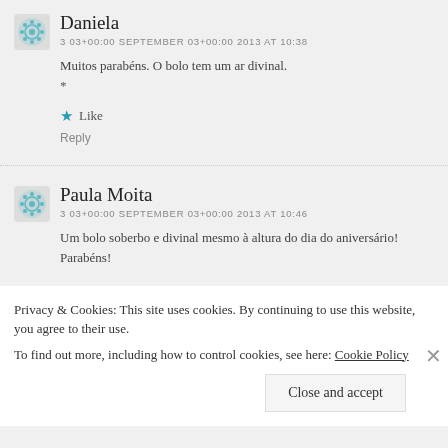Daniela
3 03+00:00 SEPTEMBER 03+00:00 2013 AT 10:38
Muitos parabéns. O bolo tem um ar divinal.
Like
Reply
Paula Moita
3 03+00:00 SEPTEMBER 03+00:00 2013 AT 10:46
Um bolo soberbo e divinal mesmo à altura do dia do aniversário! Parabéns!
Privacy & Cookies: This site uses cookies. By continuing to use this website, you agree to their use. To find out more, including how to control cookies, see here: Cookie Policy
Close and accept